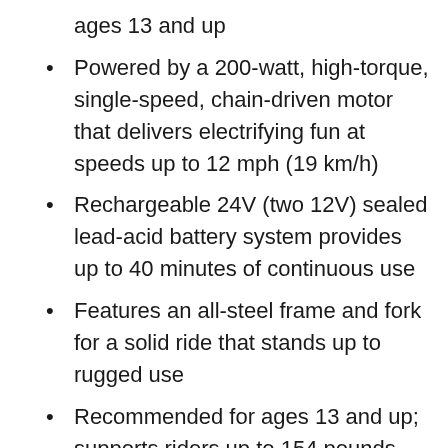ages 13 and up
Powered by a 200-watt, high-torque, single-speed, chain-driven motor that delivers electrifying fun at speeds up to 12 mph (19 km/h)
Rechargeable 24V (two 12V) sealed lead-acid battery system provides up to 40 minutes of continuous use
Features an all-steel frame and fork for a solid ride that stands up to rugged use
Recommended for ages 13 and up; supports riders up to 154 pounds (70 kg)